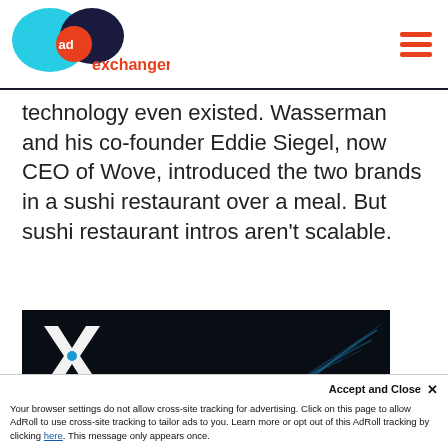AdExchanger logo and navigation
technology even existed. Wasserman and his co-founder Eddie Siegel, now CEO of Wove, introduced the two brands in a sushi restaurant over a meal. But sushi restaurant intros aren't scalable.
[Figure (screenshot): Dark background image with blue abstract light streaks and a white X logo mark in the upper left corner]
Accept and Close ×
Your browser settings do not allow cross-site tracking for advertising. Click on this page to allow AdRoll to use cross-site tracking to tailor ads to you. Learn more or opt out of this AdRoll tracking by clicking here. This message only appears once.